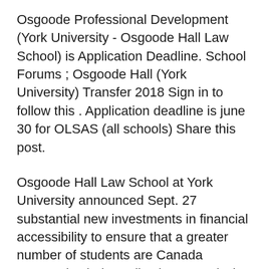Osgoode Professional Development (York University - Osgoode Hall Law School) is Application Deadline. School Forums ; Osgoode Hall (York University) Transfer 2018 Sign in to follow this . Application deadline is june 30 for OLSAS (all schools) Share this post.
Osgoode Hall Law School at York University announced Sept. 27 substantial new investments in financial accessibility to ensure that a greater number of students are Canada Research Chair Application Form (July 1, 2017) Osgoode Hall Law School of York University is inviting applications from outstanding researchers for a Canada